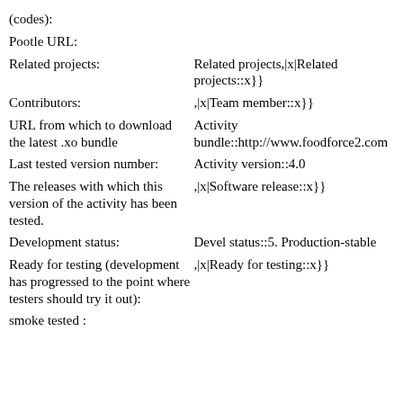| (codes): |  |
| Pootle URL: |  |
| Related projects: | Related projects,|x|Related projects::x}} |
| Contributors: | ,|x|Team member::x}} |
| URL from which to download the latest .xo bundle | Activity bundle::http://www.foodforce2.com |
| Last tested version number: | Activity version::4.0 |
| The releases with which this version of the activity has been tested. | ,|x|Software release::x}} |
| Development status: | Devel status::5. Production-stable |
| Ready for testing (development has progressed to the point where testers should try it out): | ,|x|Ready for testing::x}} |
| smoke tested : |  |